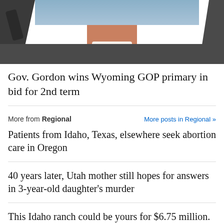[Figure (photo): Close-up photo of a man in a dark suit with white collar/shirt, partial face/neck visible, with a microphone on the left side]
Gov. Gordon wins Wyoming GOP primary in bid for 2nd term
More from Regional     More posts in Regional »
Patients from Idaho, Texas, elsewhere seek abortion care in Oregon
40 years later, Utah mother still hopes for answers in 3-year-old daughter's murder
This Idaho ranch could be yours for $6.75 million. You'll need a plane or boat to get there